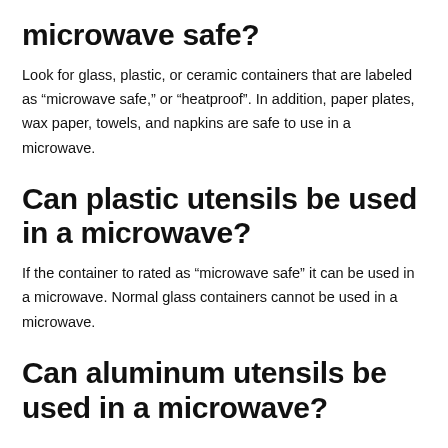microwave safe?
Look for glass, plastic, or ceramic containers that are labeled as “microwave safe,” or “heatproof”. In addition, paper plates, wax paper, towels, and napkins are safe to use in a microwave.
Can plastic utensils be used in a microwave?
If the container to rated as “microwave safe” it can be used in a microwave. Normal glass containers cannot be used in a microwave.
Can aluminum utensils be used in a microwave?